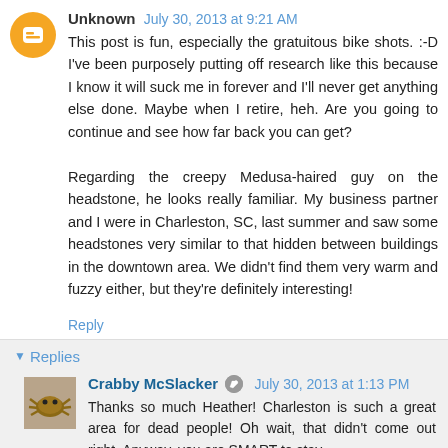Unknown July 30, 2013 at 9:21 AM
This post is fun, especially the gratuitous bike shots. :-D I've been purposely putting off research like this because I know it will suck me in forever and I'll never get anything else done. Maybe when I retire, heh. Are you going to continue and see how far back you can get?

Regarding the creepy Medusa-haired guy on the headstone, he looks really familiar. My business partner and I were in Charleston, SC, last summer and saw some headstones very similar to that hidden between buildings in the downtown area. We didn't find them very warm and fuzzy either, but they're definitely interesting!
Reply
Replies
Crabby McSlacker July 30, 2013 at 1:13 PM
Thanks so much Heather! Charleston is such a great area for dead people! Oh wait, that didn't come out right. Anyway, you are SMART to stay